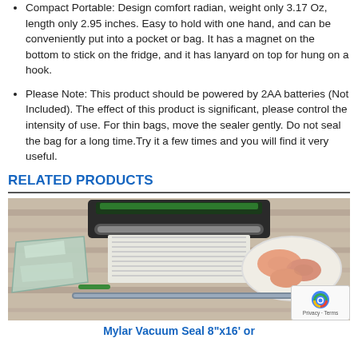Compact Portable: Design comfort radian, weight only 3.17 Oz, length only 2.95 inches. Easy to hold with one hand, and can be conveniently put into a pocket or bag. It has a magnet on the bottom to stick on the fridge, and it has lanyard on top for hung on a hook.
Please Note: This product should be powered by 2AA batteries (Not Included). The effect of this product is significant, please control the intensity of use. For thin bags, move the sealer gently. Do not seal the bag for a long time.Try it a few times and you will find it very useful.
RELATED PRODUCTS
[Figure (photo): Product photo showing a vacuum sealer machine on a wooden table with mylar/clear bags, a green tie strap, sealing rolls, and a plate of raw chicken breast pieces. A reCAPTCHA badge is visible in the lower right corner.]
Mylar Vacuum Seal 8"x16' or